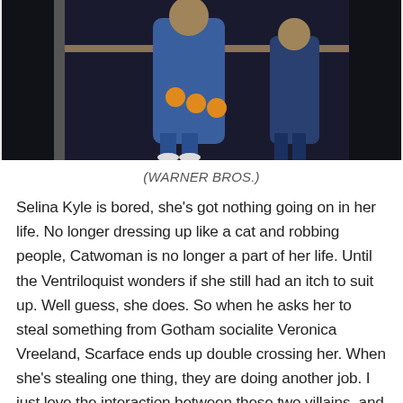[Figure (illustration): Animated scene showing characters in dark environment, one figure wearing a blue outfit with orange circular belt details]
(WARNER BROS.)
Selina Kyle is bored, she’s got nothing going on in her life. No longer dressing up like a cat and robbing people, Catwoman is no longer a part of her life. Until the Ventriloquist wonders if she still had an itch to suit up. Well guess, she does. So when he asks her to steal something from Gotham socialite Veronica Vreeland, Scarface ends up double crossing her. When she’s stealing one thing, they are doing another job. I just love the interaction between these two villains, and I enjoy watching a vulnerable Catwoman, as she is trying to decide what’s the best life for her. It’s always interesting with the Ventriloquist, because when Scarface usually goes bye bye, it’s a weird and emotional bit. He’s just a puppet, but he’s more than that to his creator. Always found that